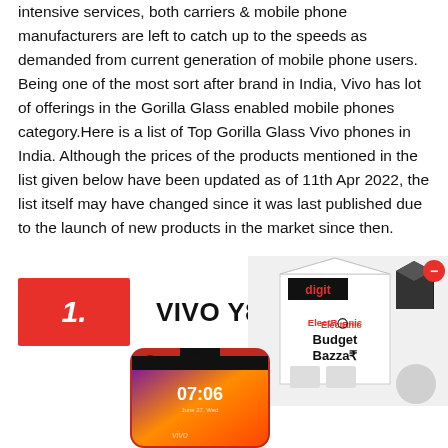intensive services, both carriers & mobile phone manufacturers are left to catch up to the speeds as demanded from current generation of mobile phone users. Being one of the most sort after brand in India, Vivo has lot of offerings in the Gorilla Glass enabled mobile phones category.Here is a list of Top Gorilla Glass Vivo phones in India. Although the prices of the products mentioned in the list given below have been updated as of 11th Apr 2022, the list itself may have changed since it was last published due to the launch of new products in the market since then.
1. VIVO Y81I
[Figure (photo): Advertisement box for ElectRonic Budget Bazzar with logo and product images]
[Figure (photo): Red Vivo Y81I smartphone with notch display showing 07:06 time]